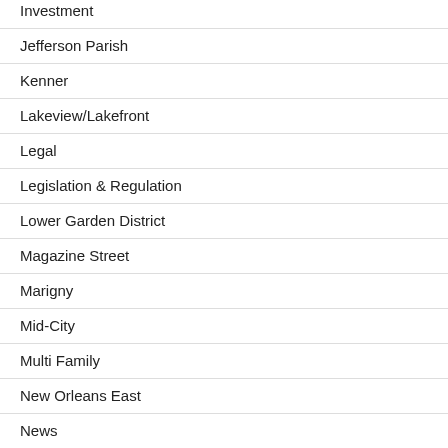Investment
Jefferson Parish
Kenner
Lakeview/Lakefront
Legal
Legislation & Regulation
Lower Garden District
Magazine Street
Marigny
Mid-City
Multi Family
New Orleans East
News
Northshore
Office